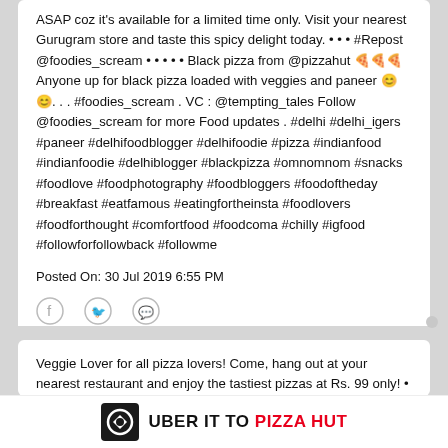ASAP coz it's available for a limited time only. Visit your nearest Gurugram store and taste this spicy delight today. • • • #Repost @foodies_scream • • • • • Black pizza from @pizzahut 🍕🍕🍕 Anyone up for black pizza loaded with veggies and paneer 😊😊. . . #foodies_scream . VC : @tempting_tales Follow @foodies_scream for more Food updates . #delhi #delhi_igers #paneer #delhifoodblogger #delhifoodie #pizza #indianfood #indianfoodie #delhiblogger #blackpizza #omnomnom #snacks #foodlove #foodphotography #foodbloggers #foodoftheday #breakfast #eatfamous #eatingfortheinsta #foodlovers #foodforthought #comfortfood #foodcoma #chilly #igfood #followforfollowback #followme
Posted On: 30 Jul 2019 6:55 PM
[Figure (other): Social share icons: Facebook, Twitter, WhatsApp]
Veggie Lover for all pizza lovers! Come, hang out at your nearest restaurant and enjoy the tastiest pizzas at Rs. 99 only! • • • #Repost @onlycalories • • • • • In crust we trust Location: Pizza hut In picture: Veggie lover pizza . . #onlycalories #pizza #pizzahut #panpizza #food #foodlover #foodporn #foodie #bonappetit
[Figure (logo): Uber Eats logo with text UBER IT TO PIZZA HUT]